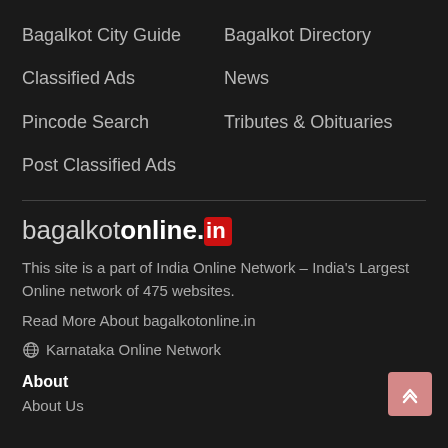Bagalkot City Guide
Bagalkot Directory
Classified Ads
News
Pincode Search
Tributes & Obituaries
Post Classified Ads
bagalkotonline.in
This site is a part of India Online Network – India's Largest Online network of 475 websites.
Read More About bagalkotonline.in
🌐 Karnataka Online Network
About
About Us